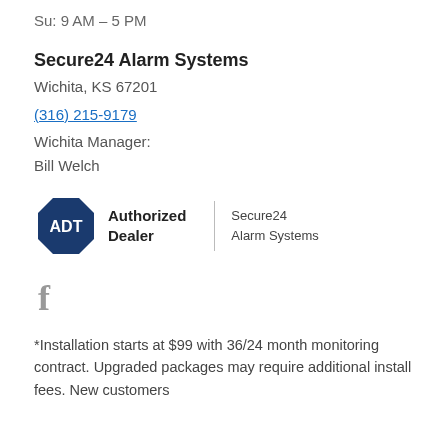Su: 9 AM – 5 PM
Secure24 Alarm Systems
Wichita, KS 67201
(316) 215-9179
Wichita Manager:
Bill Welch
[Figure (logo): ADT Authorized Dealer logo badge (dark blue octagon with ADT text) alongside Secure24 Alarm Systems text]
[Figure (logo): Facebook 'f' icon in gray]
*Installation starts at $99 with 36/24 month monitoring contract. Upgraded packages may require additional install fees. New customers